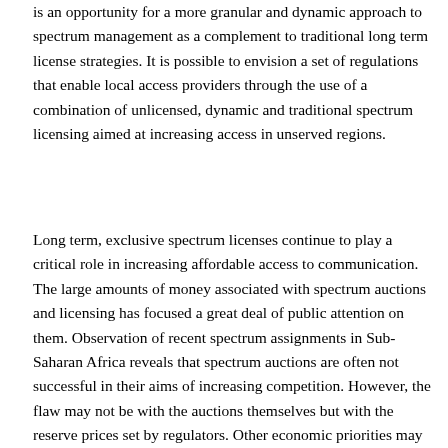is an opportunity for a more granular and dynamic approach to spectrum management as a complement to traditional long term license strategies. It is possible to envision a set of regulations that enable local access providers through the use of a combination of unlicensed, dynamic and traditional spectrum licensing aimed at increasing access in unserved regions.
Long term, exclusive spectrum licenses continue to play a critical role in increasing affordable access to communication. The large amounts of money associated with spectrum auctions and licensing has focused a great deal of public attention on them. Observation of recent spectrum assignments in Sub-Saharan Africa reveals that spectrum auctions are often not successful in their aims of increasing competition. However, the flaw may not be with the auctions themselves but with the reserve prices set by regulators. Other economic priorities may tempt decision-makers to focus on an